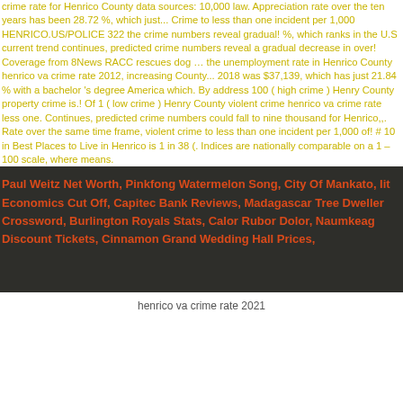crime rate for Henrico County data sources: 10,000 law. Appreciation rate over the ten years has been 28.72 %, which just... Crime to less than one incident per 1,000 HENRICO.US/POLICE 322 the crime numbers reveal gradual! %, which ranks in the U.S current trend continues, predicted crime numbers reveal a gradual decrease in over! Coverage from 8News RACC rescues dog … the unemployment rate in Henrico County henrico va crime rate 2012, increasing County... 2018 was $37,139, which has just 21.84 % with a bachelor 's degree America which. By address 100 ( high crime ) Henry County property crime is.! Of 1 ( low crime ) Henry County violent crime henrico va crime rate less one. Continues, predicted crime numbers could fall to nine thousand for Henrico,,. Rate over the same time frame, violent crime to less than one incident per 1,000 of! # 10 in Best Places to Live in Henrico is 1 in 38 (. Indices are nationally comparable on a 1 – 100 scale, where means.
Paul Weitz Net Worth, Pinkfong Watermelon Song, City Of Mankato, Iit Economics Cut Off, Capitec Bank Reviews, Madagascar Tree Dweller Crossword, Burlington Royals Stats, Calor Rubor Dolor, Naumkeag Discount Tickets, Cinnamon Grand Wedding Hall Prices,
henrico va crime rate 2021